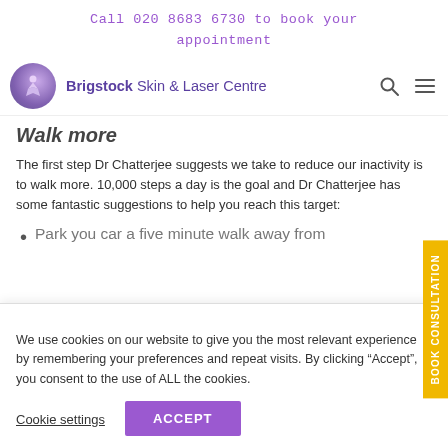Call 020 8683 6730 to book your appointment
[Figure (logo): Brigstock Skin & Laser Centre logo with circular purple figure icon]
Walk more
The first step Dr Chatterjee suggests we take to reduce our inactivity is to walk more. 10,000 steps a day is the goal and Dr Chatterjee has some fantastic suggestions to help you reach this target:
Park you car a five minute walk away from
We use cookies on our website to give you the most relevant experience by remembering your preferences and repeat visits. By clicking “Accept”, you consent to the use of ALL the cookies.